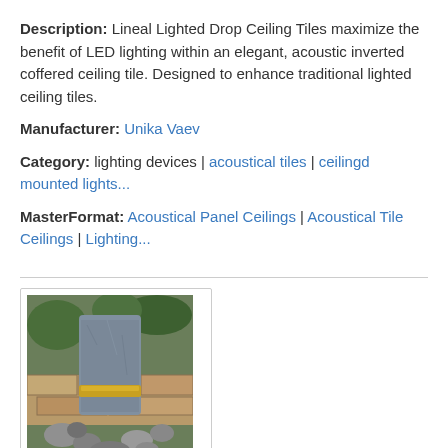Description: Lineal Lighted Drop Ceiling Tiles maximize the benefit of LED lighting within an elegant, acoustic inverted coffered ceiling tile. Designed to enhance traditional lighted ceiling tiles.
Manufacturer: Unika Vaev
Category: lighting devices | acoustical tiles | ceilingd mounted lights...
MasterFormat: Acoustical Panel Ceilings | Acoustical Tile Ceilings | Lighting...
[Figure (photo): Photo of a granite stone outdoor light fountain surrounded by rocks and greenery]
Coverall Stone - Granite Lights